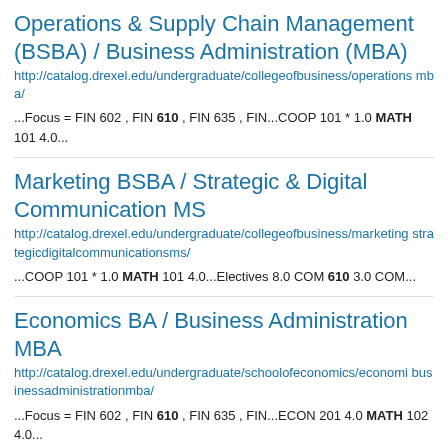Operations & Supply Chain Management (BSBA) / Business Administration (MBA)
http://catalog.drexel.edu/undergraduate/collegeofbusiness/operations mba/
...Focus = FIN 602 , FIN 610 , FIN 635 , FIN...COOP 101 * 1.0 MATH 101 4.0...
Marketing BSBA / Strategic & Digital Communication MS
http://catalog.drexel.edu/undergraduate/collegeofbusiness/marketing strategicdigitalcommunicationsms/
...COOP 101 * 1.0 MATH 101 4.0...Electives 8.0 COM 610 3.0 COM...
Economics BA / Business Administration MBA
http://catalog.drexel.edu/undergraduate/schoolofeconomics/economi businessadministrationmba/
...Focus = FIN 602 , FIN 610 , FIN 635 , FIN...ECON 201 4.0 MATH 102 4.0...
Engineering Management